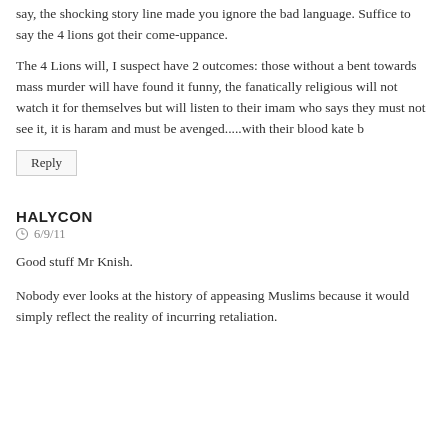say, the shocking story line made you ignore the bad language. Suffice to say the 4 lions got their come-uppance.
The 4 Lions will, I suspect have 2 outcomes: those without a bent towards mass murder will have found it funny, the fanatically religious will not watch it for themselves but will listen to their imam who says they must not see it, it is haram and must be avenged.....with their blood kate b
Reply
HALYCON
6/9/11
Good stuff Mr Knish.
Nobody ever looks at the history of appeasing Muslims because it would simply reflect the reality of incurring retaliation.